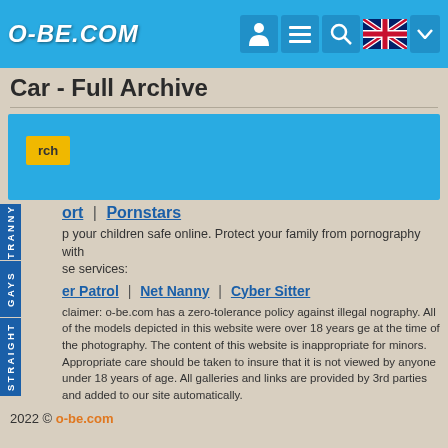O-BE.COM
Car - Full Archive
[Figure (screenshot): Blue search box area with yellow search button labeled 'rch' (partially visible)]
ort | Pornstars
p your children safe online. Protect your family from pornography with se services:
er Patrol | Net Nanny | Cyber Sitter
claimer: o-be.com has a zero-tolerance policy against illegal nography. All of the models depicted in this website were over 18 years ge at the time of the photography. The content of this website is inappropriate for minors. Appropriate care should be taken to insure that it is not viewed by anyone under 18 years of age. All galleries and links are provided by 3rd parties and added to our site automatically.
2022 © o-be.com